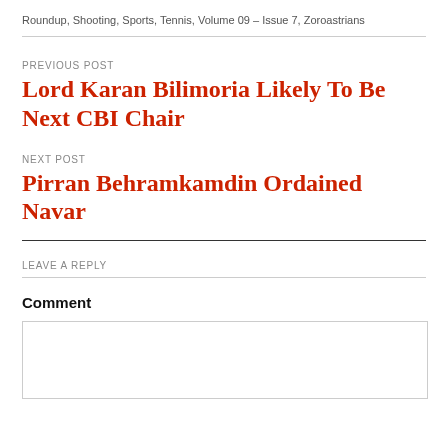Roundup, Shooting, Sports, Tennis, Volume 09 – Issue 7, Zoroastrians
PREVIOUS POST
Lord Karan Bilimoria Likely To Be Next CBI Chair
NEXT POST
Pirran Behramkamdin Ordained Navar
LEAVE A REPLY
Comment